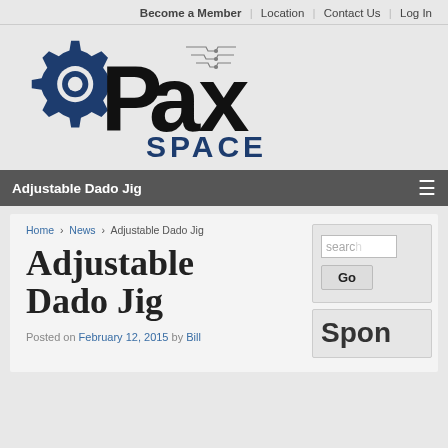Become a Member | Location | Contact Us | Log In
[Figure (logo): PaxSpace logo: gear icon in dark blue with 'Pax' in large black serif text and 'SPACE' in dark blue bold sans-serif below]
Adjustable Dado Jig
Home › News › Adjustable Dado Jig
Adjustable Dado Jig
Posted on February 12, 2015 by Bill